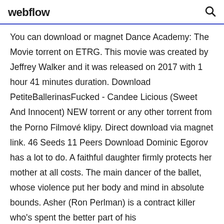webflow
You can download or magnet Dance Academy: The Movie torrent on ETRG. This movie was created by Jeffrey Walker and it was released on 2017 with 1 hour 41 minutes duration. Download PetiteBallerinаsFucked - Candee Licious (Sweet And Innocent) NEW torrent or any other torrent from the Porno Filmové klipy. Direct download via magnet link. 46 Seeds 11 Peers Download Dominic Egorov has a lot to do. A faithful daughter firmly protects her mother at all costs. The main dancer of the ballet, whose violence put her body and mind in absolute bounds. Asher (Ron Perlman) is a contract killer who's spent the better part of his